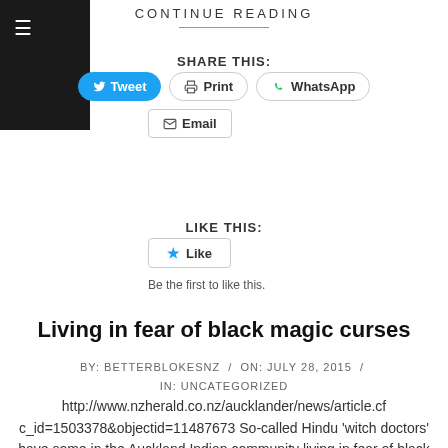CONTINUE READING
SHARE THIS:
[Figure (screenshot): Social share buttons: Tweet (blue), Print, WhatsApp, Email]
LIKE THIS:
[Figure (screenshot): Like button with star icon]
Be the first to like this.
Living in fear of black magic curses
BY: BETTERBLOKESNZ / ON: JULY 28, 2015 / IN: UNCATEGORIZED
http://www.nzherald.co.nz/aucklander/news/article.cfc_id=1503378&objectid=11487673 So-called Hindu 'witch doctors' have some in the Auckland Indian community living in fear of black magic